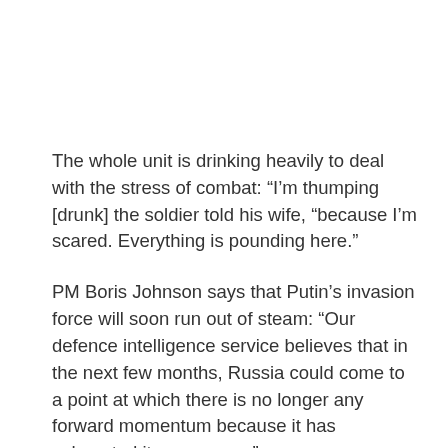The whole unit is drinking heavily to deal with the stress of combat: “I’m thumping [drunk] the soldier told his wife, “because I’m scared. Everything is pounding here.”
PM Boris Johnson says that Putin’s invasion force will soon run out of steam: “Our defence intelligence service believes that in the next few months, Russia could come to a point at which there is no longer any forward momentum because it has exhausted its resources.”
Admiral Sir Antony David Radakin, the UK’s highest-ranking military officer, added that Vladimir Putin’s